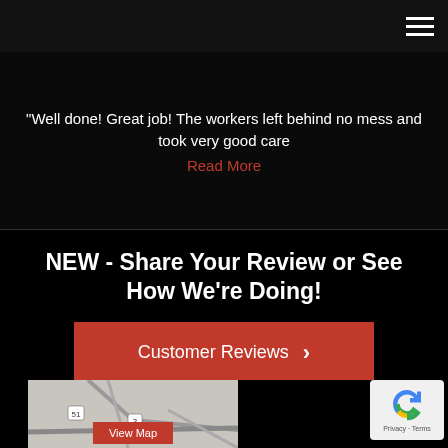[Figure (screenshot): Navigation bar with hamburger menu icon (three horizontal white lines) on black background]
"Well done! Great job! The workers left behind no mess and took very good care
Read More
NEW - Share Your Review or See How We're Doing!
[Figure (other): Red button with text 'Customer Reviews >']
[Figure (map): Map showing road intersections with a 'View Map' red button overlay, and a reCAPTCHA badge in the bottom right]